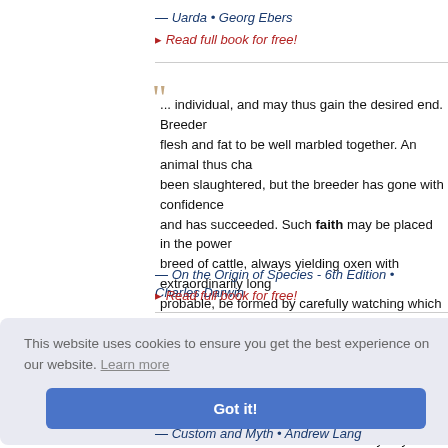— Uarda • Georg Ebers
▸ Read full book for free!
... individual, and may thus gain the desired end. Breeders wish the flesh and fat to be well marbled together. An animal thus characterised has been slaughtered, but the breeder has gone with confidence to the same stock, and has succeeded. Such faith may be placed in the power of a breed of cattle, always yielding oxen with extraordinarily long horns, can, in all probable, be formed by carefully watching which individual bulls and cows, when matched, produced oxen with the longest ...
— On the Origin of Species - 6th Edition • Charles Darwin
▸ Read full book for free!
This website uses cookies to ensure you get the best experience on our website. Learn more
Got it!
Though S... ent results ... sults has b... gle etymolo... s when sch... arcely any
— Custom and Myth • Andrew Lang
▸ Read full book for free!